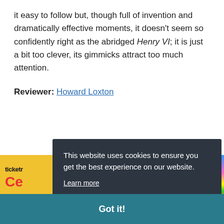it easy to follow but, though full of invention and dramatically effective moments, it doesn't seem so confidently right as the abridged Henry VI; it is just a bit too clever, its gimmicks attract too much attention.
Reviewer: Howard Loxton
[Figure (screenshot): Partial view of a Ticketmaster-style ad banner with yellow background, showing 'ticketr' text and 'Ce' in red, with a colorful right strip]
This website uses cookies to ensure you get the best experience on our website.
Learn more
Got it!